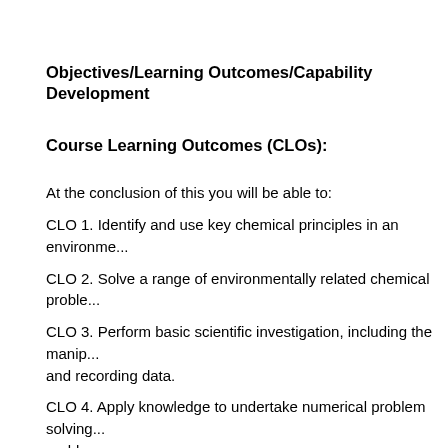Objectives/Learning Outcomes/Capability Development
Course Learning Outcomes (CLOs):
At the conclusion of this you will be able to:
CLO 1. Identify and use key chemical principles in an environme...
CLO 2. Solve a range of environmentally related chemical proble...
CLO 3. Perform basic scientific investigation, including the manip... and recording data.
CLO 4. Apply knowledge to undertake numerical problem solving... problems.
This course contributes to the development of the following Prog...
PLO 1 - Understanding Science, demonstrate a coherent unders...
PLO 2 - Scientific knowledge, exhibit...